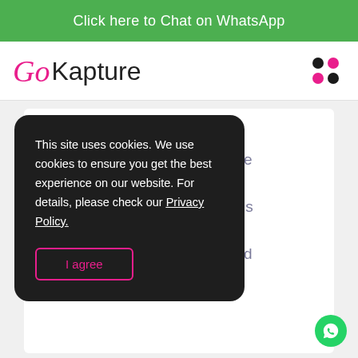Click here to Chat on WhatsApp
[Figure (logo): GoKapture logo with pink cursive 'Go' and black sans-serif 'Kapture', and a 2x2 grid of dots (black top-left, pink top-right, pink bottom-left, black bottom-right) on the right side]
This site uses cookies. We use cookies to ensure you get the best experience on our website. For details, please check our Privacy Policy.
I agree
een or a nal picture software l mosaic is element esting and z.